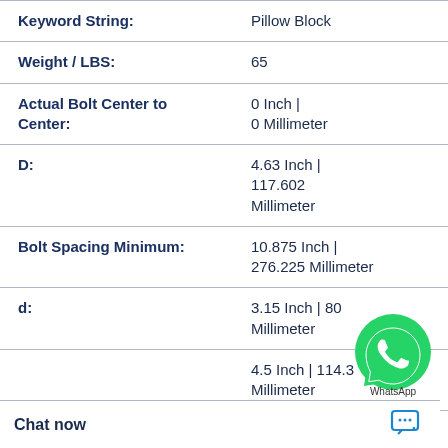| Property | Value |
| --- | --- |
| Keyword String: | Pillow Block |
| Weight / LBS: | 65 |
| Actual Bolt Center to Center: | 0 Inch | 0 Millimeter |
| D: | 4.63 Inch | 117.602 Millimeter |
| Bolt Spacing Minimum: | 10.875 Inch | 276.225 Millimeter |
| d: | 3.15 Inch | 80 Millimeter |
|  | 4.5 Inch | 114.3 Millimeter |
|  | 11.9 Inch | 302.3 Millimeter |